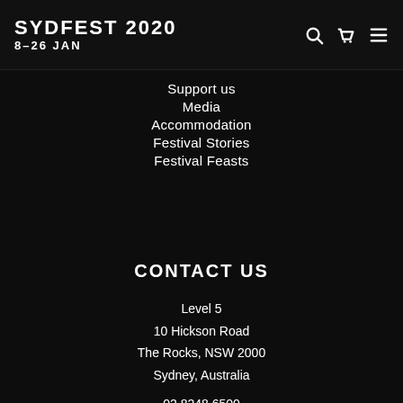SYDFEST 2020 8–26 JAN
Support us
Media
Accommodation
Festival Stories
Festival Feasts
CONTACT US
Level 5
10 Hickson Road
The Rocks, NSW 2000
Sydney, Australia
02 8248 6500